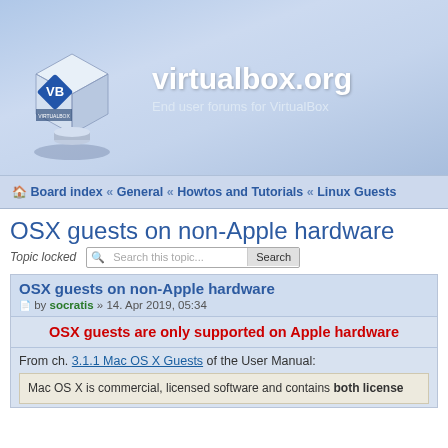[Figure (screenshot): VirtualBox logo — white 3D cube with diamond-shaped 'V' logo on face, rendered on gradient blue background]
virtualbox.org
End user forums for VirtualBox
Board index « General « Howtos and Tutorials « Linux Guests
OSX guests on non-Apple hardware
Topic locked
OSX guests on non-Apple hardware
by socratis » 14. Apr 2019, 05:34
OSX guests are only supported on Apple hardware
From ch. 3.1.1 Mac OS X Guests of the User Manual:
Mac OS X is commercial, licensed software and contains both license